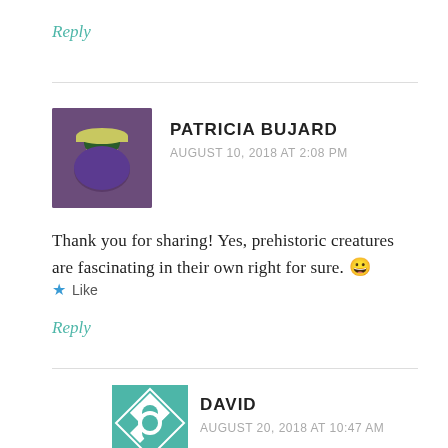Reply
PATRICIA BUJARD
AUGUST 10, 2018 AT 2:08 PM
Thank you for sharing! Yes, prehistoric creatures are fascinating in their own right for sure. 😀
Like
Reply
DAVID
AUGUST 20, 2018 AT 10:47 AM